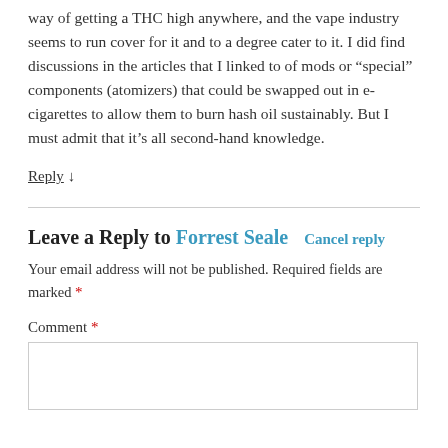way of getting a THC high anywhere, and the vape industry seems to run cover for it and to a degree cater to it. I did find discussions in the articles that I linked to of mods or “special” components (atomizers) that could be swapped out in e-cigarettes to allow them to burn hash oil sustainably. But I must admit that it’s all second-hand knowledge.
Reply ↓
Leave a Reply to Forrest Seale   Cancel reply
Your email address will not be published. Required fields are marked *
Comment *